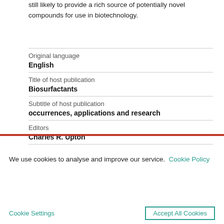still likely to provide a rich source of potentially novel compounds for use in biotechnology.
| Original language | English |
| Title of host publication | Biosurfactants |
| Subtitle of host publication | occurrences, applications and research |
| Editors | Charles R. Upton |
We use cookies to analyse and improve our service. Cookie Policy
Cookie Settings   Accept All Cookies